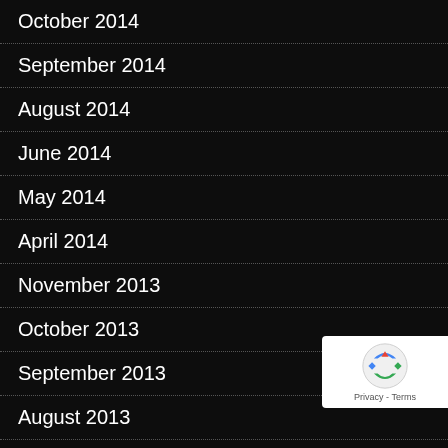October 2014
September 2014
August 2014
June 2014
May 2014
April 2014
November 2013
October 2013
September 2013
August 2013
CATEGORIES
astrophotography
D810A